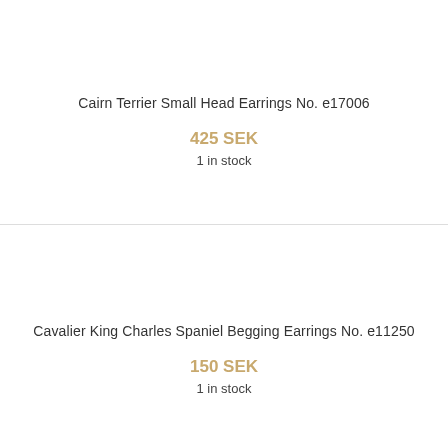Cairn Terrier Small Head Earrings No. e17006
425 SEK
1 in stock
Cavalier King Charles Spaniel Begging Earrings No. e11250
150 SEK
1 in stock